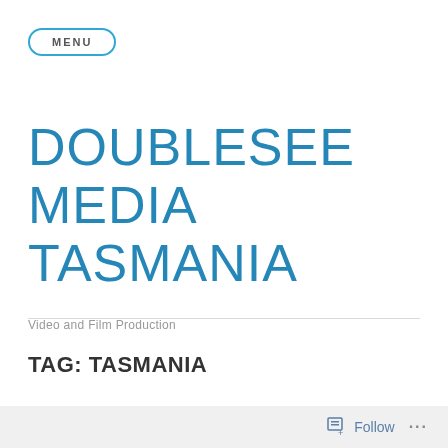MENU
DOUBLESEE MEDIA TASMANIA
Video and Film Production
TAG: TASMANIA
Follow ...